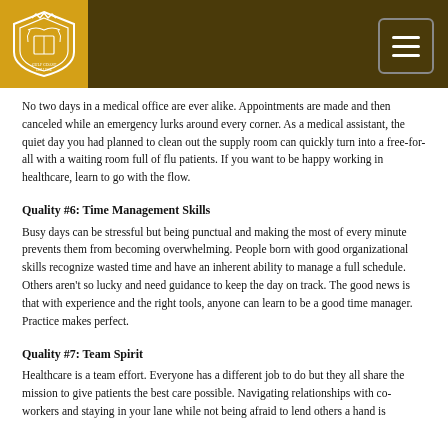Gulf Coast College header with logo and navigation
No two days in a medical office are ever alike. Appointments are made and then canceled while an emergency lurks around every corner. As a medical assistant, the quiet day you had planned to clean out the supply room can quickly turn into a free-for-all with a waiting room full of flu patients. If you want to be happy working in healthcare, learn to go with the flow.
Quality #6: Time Management Skills
Busy days can be stressful but being punctual and making the most of every minute prevents them from becoming overwhelming. People born with good organizational skills recognize wasted time and have an inherent ability to manage a full schedule. Others aren't so lucky and need guidance to keep the day on track. The good news is that with experience and the right tools, anyone can learn to be a good time manager. Practice makes perfect.
Quality #7: Team Spirit
Healthcare is a team effort. Everyone has a different job to do but they all share the mission to give patients the best care possible. Navigating relationships with co-workers and staying in your lane while not being afraid to lend others a hand is